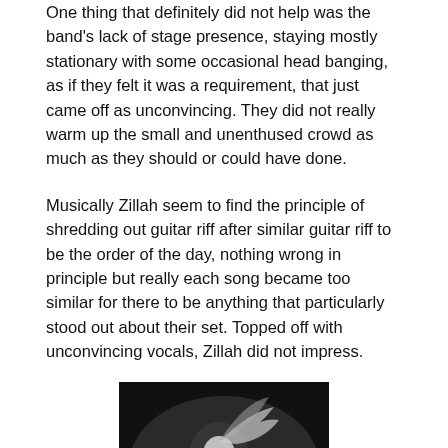One thing that definitely did not help was the band's lack of stage presence, staying mostly stationary with some occasional head banging, as if they felt it was a requirement, that just came off as unconvincing. They did not really warm up the small and unenthused crowd as much as they should or could have done.
Musically Zillah seem to find the principle of shredding out guitar riff after similar guitar riff to be the order of the day, nothing wrong in principle but really each song became too similar for there to be anything that particularly stood out about their set. Topped off with unconvincing vocals, Zillah did not impress.
[Figure (photo): Black and white concert photo of a musician, likely a drummer, with long hair in motion, playing drums on stage in dramatic lighting.]
Click for large image
Overall then this was not a particularly great set and did not much encourage me to ever go out of my way to catch a Zillah gig...